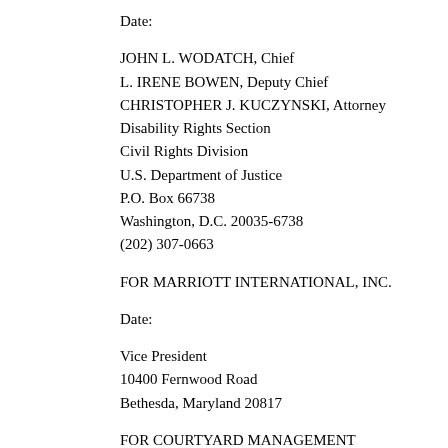Date:
JOHN L. WODATCH, Chief
L. IRENE BOWEN, Deputy Chief
CHRISTOPHER J. KUCZYNSKI, Attorney
Disability Rights Section
Civil Rights Division
U.S. Department of Justice
P.O. Box 66738
Washington, D.C. 20035-6738
(202) 307-0663
FOR MARRIOTT INTERNATIONAL, INC.
Date:
Vice President
10400 Fernwood Road
Bethesda, Maryland 20817
FOR COURTYARD MANAGEMENT CORPORATION:
Date: